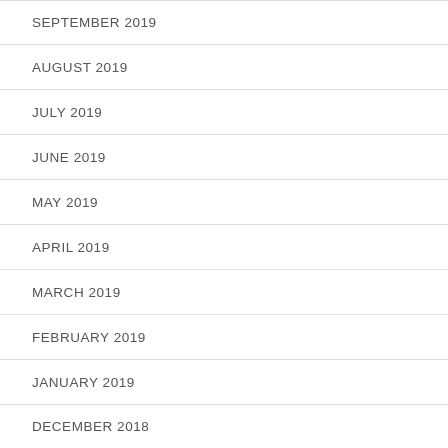SEPTEMBER 2019
AUGUST 2019
JULY 2019
JUNE 2019
MAY 2019
APRIL 2019
MARCH 2019
FEBRUARY 2019
JANUARY 2019
DECEMBER 2018